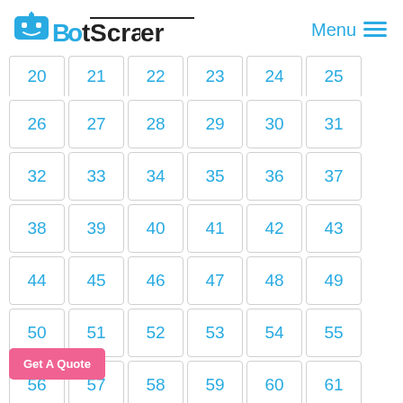BotScraper  Menu
| 20 | 21 | 22 | 23 | 24 | 25 |
| 26 | 27 | 28 | 29 | 30 | 31 |
| 32 | 33 | 34 | 35 | 36 | 37 |
| 38 | 39 | 40 | 41 | 42 | 43 |
| 44 | 45 | 46 | 47 | 48 | 49 |
| 50 | 51 | 52 | 53 | 54 | 55 |
| 56 | 57 | 58 | 59 | 60 | 61 |